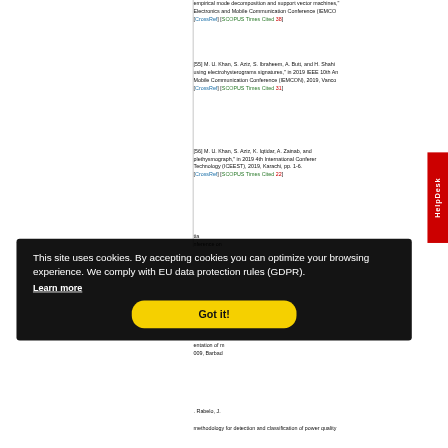empirical mode decomposition and support vector machines," Electronics and Mobile Communication Conference (IEMCO [CrossRef] [SCOPUS Times Cited 38]
[55] M. U. Khan, S. Aziz, S. Ibraheem, A. Butt, and H. Shahi using electrohysterograms signatures," in 2019 IEEE 10th An Mobile Communication Conference (IEMCON), 2019, Vanco [CrossRef] [SCOPUS Times Cited 31]
[56] M. U. Khan, S. Aziz, K. Iqtidar, A. Zainab, and plethysmograph," in 2019 4th International Conferer Technology (ICEEST), 2019, Karachi, pp. 1-6. [CrossRef] [SCOPUS Times Cited 22]
This site uses cookies. By accepting cookies you can optimize your browsing experience. We comply with EU data protection rules (GDPR). Learn more Got it!